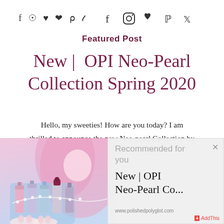f  ♡  ⊙  ♥  𝓅  ✦
Featured Post
New | OPI Neo-Pearl Collection Spring 2020
Hello, my sweeties! How are you today? I am thrilled to announce the new Neo-pearl Collection by OPI for Spring 2020 that will be...
[Figure (photo): OPI Neo-Pearl Collection nail polishes with pearl-toned bottles arranged on a pastel background with a pink-haired illustration]
[Figure (screenshot): Recommended for you overlay showing 'New | OPI Neo-Pearl Co...' recommendation widget with www.polishedpolyglot.com URL and AddThis badge]